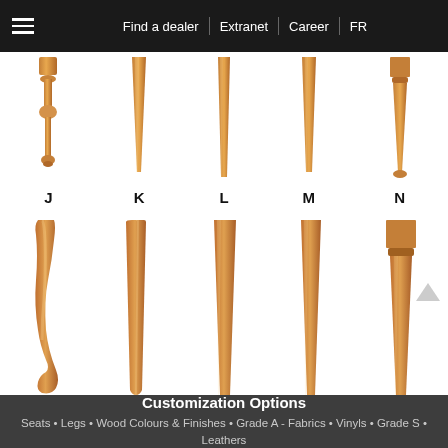Find a dealer | Extranet | Career | FR
[Figure (illustration): Five wooden furniture legs labeled J, K, L, M, N. J has a turned spindle shape, K is a simple straight taper, L is straight and slightly tapered, M is a gentle taper, N has a decorative ring and bun foot detail. All are shown in natural light wood color.]
[Figure (illustration): Five wooden furniture legs (bottom row, no labels): curved cabriole style, thin curved leg, straight tapered square leg, slightly tapered square leg, and a leg with a block detail at top. All in natural wood color.]
Customization Options
Seats • Legs • Wood Colours & Finishes • Grade A - Fabrics • Vinyls • Grade S • Leathers